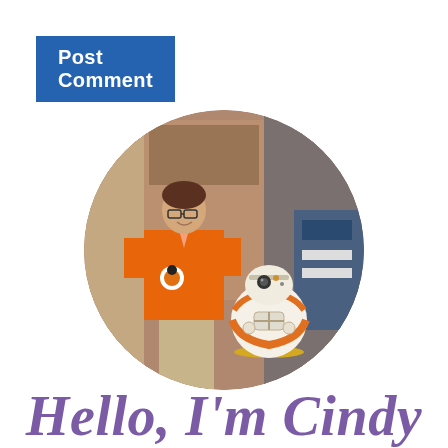Post Comment
[Figure (photo): A woman wearing an orange BB-8 themed t-shirt standing next to a BB-8 droid character in what appears to be a Star Wars themed area, displayed in a circular crop.]
Hello, I'm Cindy